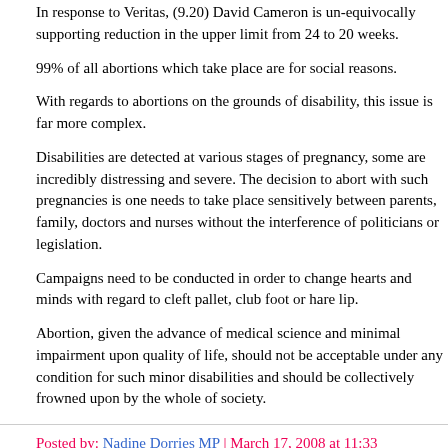In response to Veritas, (9.20) David Cameron is un-equivocally supporting reduction in the upper limit from 24 to 20 weeks.
99% of all abortions which take place are for social reasons.
With regards to abortions on the grounds of disability, this issue is far more complex.
Disabilities are detected at various stages of pregnancy, some are incredibly distressing and severe. The decision to abort with such pregnancies is one needs to take place sensitively between parents, family, doctors and nurses without the interference of politicians or legislation.
Campaigns need to be conducted in order to change hearts and minds with regard to cleft pallet, club foot or hare lip.
Abortion, given the advance of medical science and minimal impairment upon quality of life, should not be acceptable under any condition for such minor disabilities and should be collectively frowned upon by the whole of society.
Posted by: Nadine Dorries MP | March 17, 2008 at 11:33
Have you considered that the BBC might be unbiased and it's your tiny clique right-wing Tory activists who are wrong?
The BBC is an immensely popular and influential organistation, and the ma